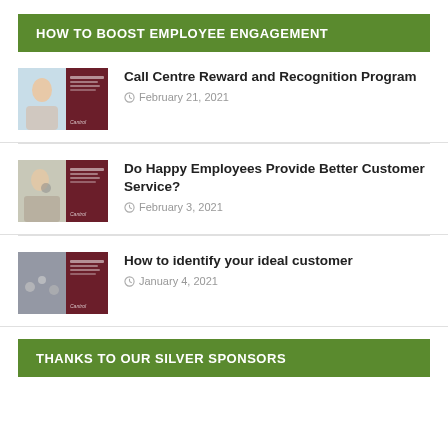HOW TO BOOST EMPLOYEE ENGAGEMENT
Call Centre Reward and Recognition Program
February 21, 2021
Do Happy Employees Provide Better Customer Service?
February 3, 2021
How to identify your ideal customer
January 4, 2021
THANKS TO OUR SILVER SPONSORS